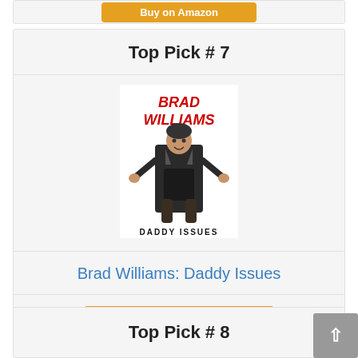[Figure (other): Partial orange Buy on Amazon button from previous card]
Top Pick # 7
[Figure (photo): Album cover art for Brad Williams: Daddy Issues showing Brad Williams in a baby carrier worn by a larger person, with BRAD WILLIAMS in red text at top and DADDY ISSUES in black text at bottom]
Brad Williams: Daddy Issues
🛒 Buy on Amazon
Top Pick # 8